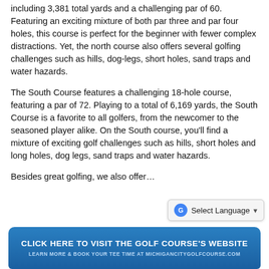including 3,381 total yards and a challenging par of 60. Featuring an exciting mixture of both par three and par four holes, this course is perfect for the beginner with fewer complex distractions. Yet, the north course also offers several golfing challenges such as hills, dog-legs, short holes, sand traps and water hazards.
The South Course features a challenging 18-hole course, featuring a par of 72. Playing to a total of 6,169 yards, the South Course is a favorite to all golfers, from the newcomer to the seasoned player alike. On the South course, you'll find a mixture of exciting golf challenges such as hills, short holes and long holes, dog legs, sand traps and water hazards.
Besides great golfing, we also offer…
[Figure (other): Blue rounded banner with white bold text: CLICK HERE TO VISIT THE GOLF COURSE'S WEBSITE and subtitle LEARN MORE & BOOK YOUR TEE TIME AT MICHIGANCITYGOLFCOURSE.COM]